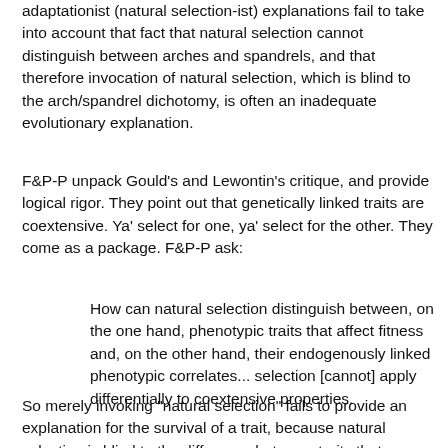adaptationist (natural selection-ist) explanations fail to take into account that fact that natural selection cannot distinguish between arches and spandrels, and that therefore invocation of natural selection, which is blind to the arch/spandrel dichotomy, is often an inadequate evolutionary explanation.
F&P-P unpack Gould's and Lewontin's critique, and provide logical rigor. They point out that genetically linked traits are coextensive. Ya' select for one, ya' select for the other. They come as a package. F&P-P ask:
How can natural selection distinguish between, on the one hand, phenotypic traits that affect fitness and, on the other hand, their endogenously linked phenotypic correlates... selection [cannot] apply differentially to coextensive properties.
So merely invoking "natural selection" fails to provide an explanation for the survival of a trait, because natural selection is blind to the difference between traits that